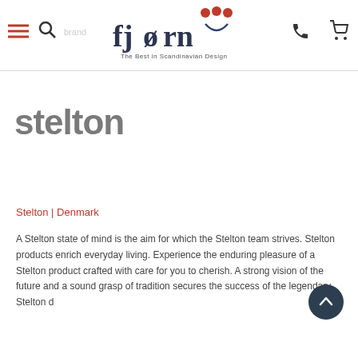[Figure (logo): Fjorn logo with tagline 'The Best in Scandinavian Design' and navigation icons (hamburger menu, search, phone, cart)]
[Figure (logo): Stelton brand logo in grey bold sans-serif text]
Stelton | Denmark
A Stelton state of mind is the aim for which the Stelton team strives. Stelton products enrich everyday living. Experience the enduring pleasure of a Stelton product crafted with care for you to cherish. A strong vision of the future and a sound grasp of tradition secures the success of the legendary Stelton d